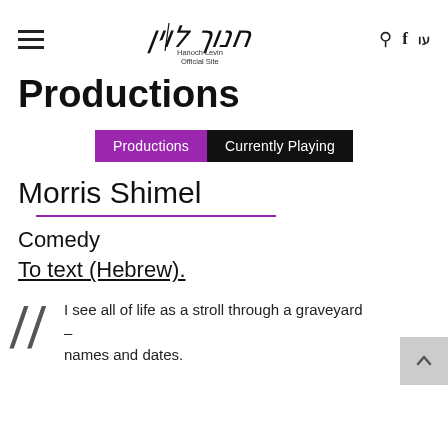Hanoch Levin Official Site — navigation header with hamburger menu, logo, search, Facebook, and Hebrew toggle
Productions
Productions | Currently Playing
Morris Shimel
Comedy
To text (Hebrew).
I see all of life as a stroll through a graveyard – names and dates.